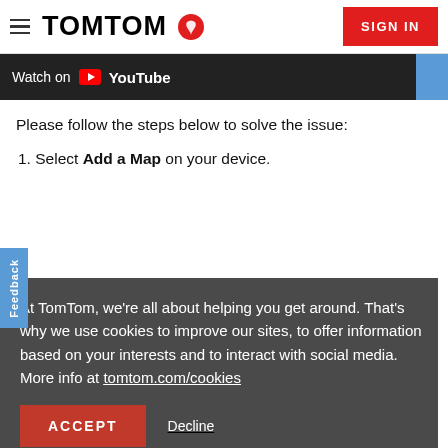TomTom | SIGN IN
[Figure (screenshot): YouTube video player bar showing 'Watch on YouTube' text with dark background and blue stripe on right]
Please follow the steps below to solve the issue:
1. Select Add a Map on your device.
At TomTom, we're all about helping you get around. That's why we use cookies to improve our sites, to offer information based on your interests and to interact with social media. More info at tomtom.com/cookies
ACCEPT | Decline
navigation device with the installed map.